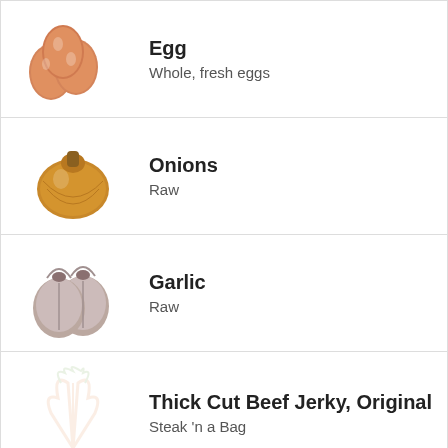[Figure (illustration): Three brown eggs illustration]
Egg
Whole, fresh eggs
[Figure (illustration): Yellow onion illustration]
Onions
Raw
[Figure (illustration): Garlic bulbs illustration]
Garlic
Raw
[Figure (illustration): Carrot outline placeholder image]
Thick Cut Beef Jerky, Original
Steak 'n a Bag
[Figure (illustration): Cartoon orange/onion mascot character]
Try our free Diet Generator
[collapse]
I want to eat 1500 calories in 4 meals.
Generate